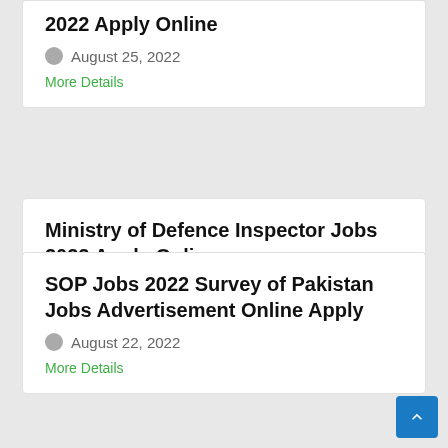2022 Apply Online
August 25, 2022
More Details
Ministry of Defence Inspector Jobs 2022 Apply Online
August 23, 2022
More Details
SOP Jobs 2022 Survey of Pakistan Jobs Advertisement Online Apply
August 22, 2022
More Details